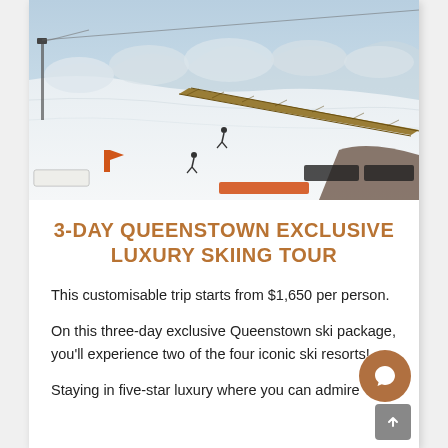[Figure (photo): Aerial view of a snowy ski resort slope with moguls, a long wooden bridge/walkway, ski lift infrastructure, and skiers on the white snow. Blue sky in background.]
3-DAY QUEENSTOWN EXCLUSIVE LUXURY SKIING TOUR
This customisable trip starts from $1,650 per person.
On this three-day exclusive Queenstown ski package, you'll experience two of the four iconic ski resorts!
Staying in five-star luxury where you can admire…